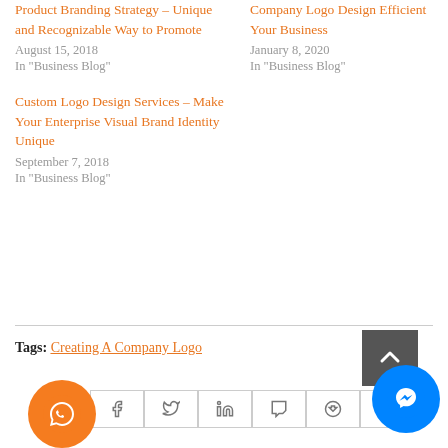Product Branding Strategy – Unique and Recognizable Way to Promote
August 15, 2018
In "Business Blog"
Company Logo Design Efficient Your Business
January 8, 2020
In "Business Blog"
Custom Logo Design Services – Make Your Enterprise Visual Brand Identity Unique
September 7, 2018
In "Business Blog"
Tags: Creating A Company Logo